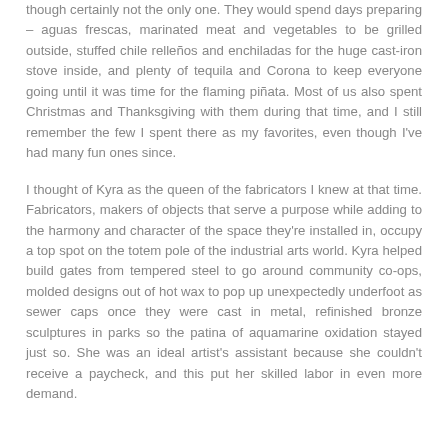though certainly not the only one. They would spend days preparing – aguas frescas, marinated meat and vegetables to be grilled outside, stuffed chile relleños and enchiladas for the huge cast-iron stove inside, and plenty of tequila and Corona to keep everyone going until it was time for the flaming piñata. Most of us also spent Christmas and Thanksgiving with them during that time, and I still remember the few I spent there as my favorites, even though I've had many fun ones since.
I thought of Kyra as the queen of the fabricators I knew at that time. Fabricators, makers of objects that serve a purpose while adding to the harmony and character of the space they're installed in, occupy a top spot on the totem pole of the industrial arts world. Kyra helped build gates from tempered steel to go around community co-ops, molded designs out of hot wax to pop up unexpectedly underfoot as sewer caps once they were cast in metal, refinished bronze sculptures in parks so the patina of aquamarine oxidation stayed just so. She was an ideal artist's assistant because she couldn't receive a paycheck, and this put her skilled labor in even more demand.